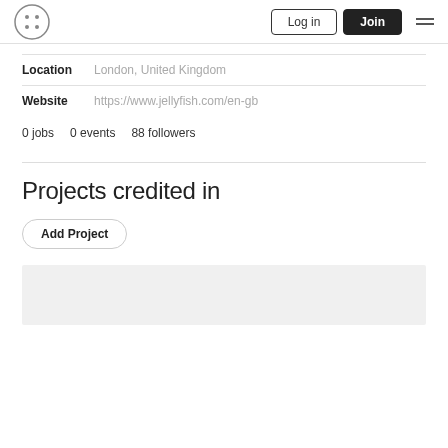Log in | Join
| Field | Value |
| --- | --- |
| Location | London, United Kingdom |
| Website | https://www.jellyfish.com/en-gb |
0 jobs   0 events   88 followers
Projects credited in
Add Project